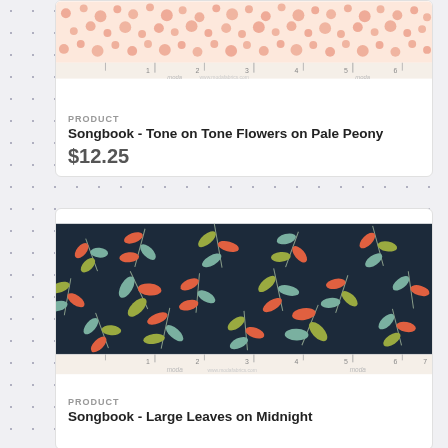[Figure (photo): Fabric swatch of Songbook Tone on Tone Flowers on Pale Peony: salmon/coral dot pattern on pale peach background with Moda ruler strip at bottom]
PRODUCT
Songbook - Tone on Tone Flowers on Pale Peony
$12.25
[Figure (photo): Fabric swatch of Songbook Large Leaves on Midnight: colorful orange, teal, and yellow-green leaf sprigs on dark navy background with Moda ruler strip at bottom]
PRODUCT
Songbook - Large Leaves on Midnight